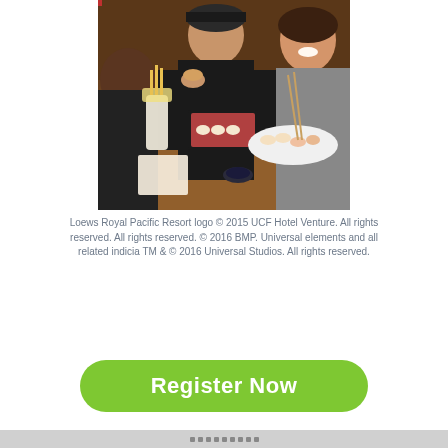[Figure (photo): Photo of people dining at a restaurant table, eating sushi and other food with chopsticks, smiling and enjoying their meal at what appears to be a casual restaurant setting.]
Loews Royal Pacific Resort logo © 2015 UCF Hotel Venture. All rights reserved. All rights reserved. © 2016 BMP. Universal elements and all related indicia TM & © 2016 Universal Studios. All rights reserved.
Register Now